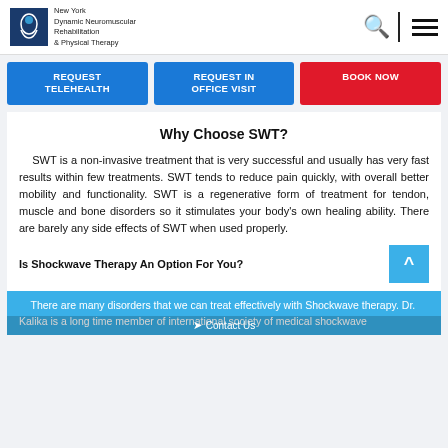New York Dynamic Neuromuscular Rehabilitation & Physical Therapy
REQUEST TELEHEALTH
REQUEST IN OFFICE VISIT
BOOK NOW
Why Choose SWT?
SWT is a non-invasive treatment that is very successful and usually has very fast results within few treatments. SWT tends to reduce pain quickly, with overall better mobility and functionality. SWT is a regenerative form of treatment for tendon, muscle and bone disorders so it stimulates your body's own healing ability. There are barely any side effects of SWT when used properly.
Is Shockwave Therapy An Option For You?
There are many disorders that we can treat effectively with Shockwave therapy. Dr. Kalika is a long time member of international society of medical shockwave